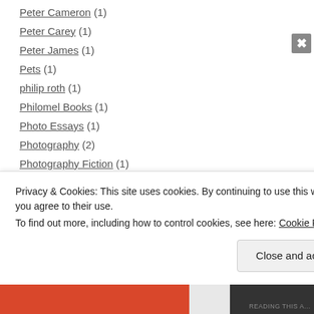Peter Cameron (1)
Peter Carey (1)
Peter James (1)
Pets (1)
philip roth (1)
Philomel Books (1)
Photo Essays (1)
Photography (2)
Photography Fiction (1)
Photojournalism (1)
Picador (53)
picador books (27)
Privacy & Cookies: This site uses cookies. By continuing to use this website, you agree to their use.
To find out more, including how to control cookies, see here: Cookie Policy
Close and accept